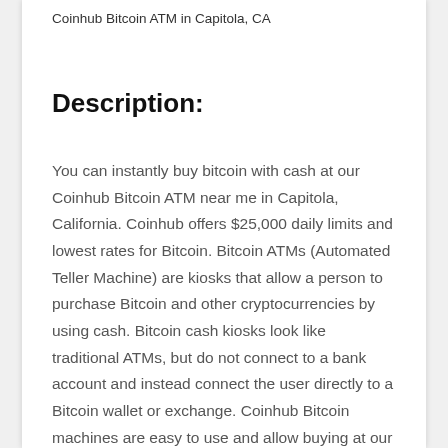Coinhub Bitcoin ATM in Capitola, CA
Description:
You can instantly buy bitcoin with cash at our Coinhub Bitcoin ATM near me in Capitola, California. Coinhub offers $25,000 daily limits and lowest rates for Bitcoin. Bitcoin ATMs (Automated Teller Machine) are kiosks that allow a person to purchase Bitcoin and other cryptocurrencies by using cash. Bitcoin cash kiosks look like traditional ATMs, but do not connect to a bank account and instead connect the user directly to a Bitcoin wallet or exchange. Coinhub Bitcoin machines are easy to use and allow buying at our btc atm to be fast and instant. If you're using a Coinhub Bitcoin Machine near me, you can definitely get cash from it. Many Coinhub Bitcoin ATMs allow you to buy and sell cryptocurrency for cash. The process of buying Bitcoin